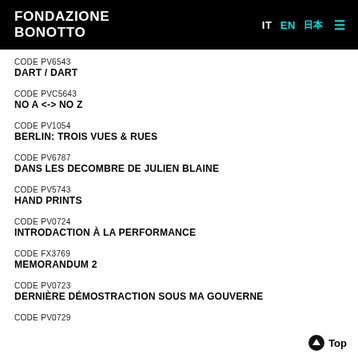FONDAZIONE BONOTTO — IT EN [JP] ☰
CODE PV6543
DART / DART
CODE PVC5643
NO A <-> NO Z
CODE PV1054
BERLIN: TROIS VUES & RUES
CODE PV6787
DANS LES DECOMBRE DE JULIEN BLAINE
CODE PV5743
HAND PRINTS
CODE PV0724
INTRODACTION À LA PERFORMANCE
CODE FX3769
MEMORANDUM 2
CODE PV0723
DERNIÈRE DÉMOSTRACTION SOUS MA GOUVERNE
CODE PV0729